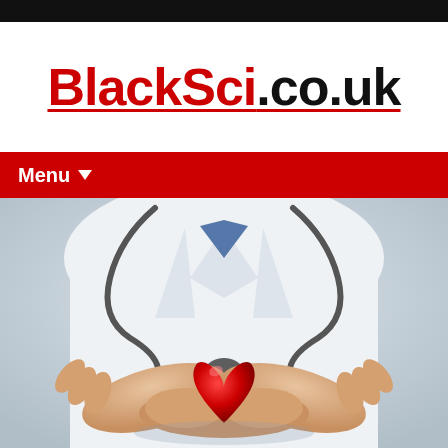BlackSci.co.uk
Menu ▼
[Figure (photo): A doctor in a white coat with a stethoscope around the neck, holding a red heart-shaped object in cupped hands, close-up view]